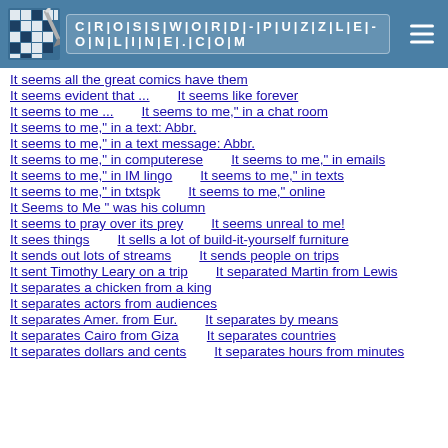[Figure (logo): Crossword-Puzzle-Online.com website header with logo grid and site name]
It seems all the great comics have them
It seems evident that ...    It seems like forever
It seems to me ...    It seems to me," in a chat room
It seems to me," in a text: Abbr.
It seems to me," in a text message: Abbr.
It seems to me," in computerese    It seems to me," in emails
It seems to me," in IM lingo    It seems to me," in texts
It seems to me," in txtspk    It seems to me," online
It Seems to Me " was his column
It seems to pray over its prey    It seems unreal to me!
It sees things    It sells a lot of build-it-yourself furniture
It sends out lots of streams    It sends people on trips
It sent Timothy Leary on a trip    It separated Martin from Lewis
It separates a chicken from a king
It separates actors from audiences
It separates Amer. from Eur.    It separates by means
It separates Cairo from Giza    It separates countries
It separates dollars and cents    It separates hours from minutes